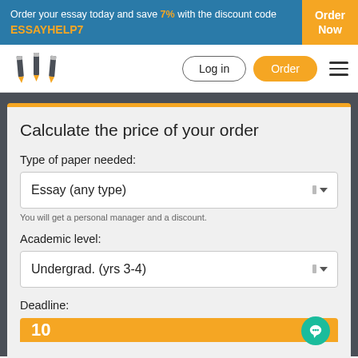Order your essay today and save 7% with the discount code ESSAYHELP7
Order Now
[Figure (logo): Three pencil icons representing a writing service logo]
Log in
Order
Calculate the price of your order
Type of paper needed:
Essay (any type)
You will get a personal manager and a discount.
Academic level:
Undergrad. (yrs 3-4)
Deadline: